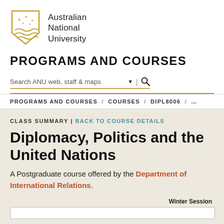[Figure (logo): Australian National University shield logo with gold stars and wave lines]
Australian National University
PROGRAMS AND COURSES
Search ANU web, staff & maps ▼ | 🔍
PROGRAMS AND COURSES / COURSES / DIPL8006 / ...
CLASS SUMMARY | BACK TO COURSE DETAILS
Diplomacy, Politics and the United Nations
A Postgraduate course offered by the Department of International Relations.
Winter Session